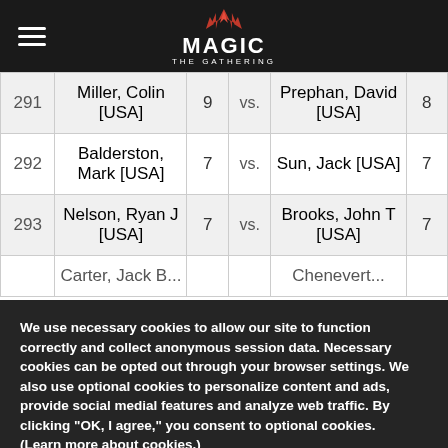Magic: The Gathering header navigation
| # | Player | Pts |  | Player | Pts |
| --- | --- | --- | --- | --- | --- |
| 291 | Miller, Colin [USA] | 9 | vs. | Prephan, David [USA] | 8 |
| 292 | Balderston, Mark [USA] | 7 | vs. | Sun, Jack [USA] | 7 |
| 293 | Nelson, Ryan J [USA] | 7 | vs. | Brooks, John T [USA] | 7 |
| 294 | Carter, Jack B... |  | vs. | Chenevert... |  |
We use necessary cookies to allow our site to function correctly and collect anonymous session data. Necessary cookies can be opted out through your browser settings. We also use optional cookies to personalize content and ads, provide social medial features and analyze web traffic. By clicking “OK, I agree,” you consent to optional cookies. (Learn more about cookies.)
OK, I agree
No, thanks